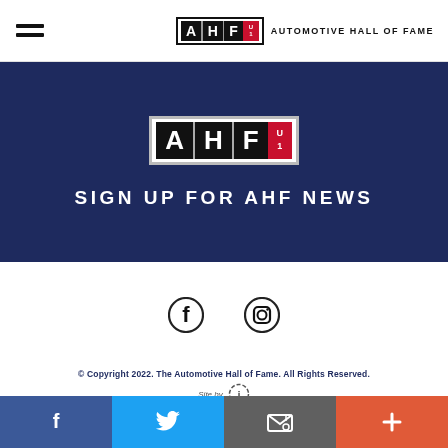[Figure (logo): Automotive Hall of Fame logo with AHF letters in black box and red accent block, top navigation bar]
[Figure (logo): AHF logo large in dark navy blue banner with SIGN UP FOR AHF NEWS text]
SIGN UP FOR AHF NEWS
[Figure (infographic): Facebook and Instagram social media icons]
© Copyright 2022. The Automotive Hall of Fame. All Rights Reserved.
Site by [i logo]
[Figure (infographic): Bottom bar with Facebook, Twitter, email/envelope, and plus icons in blue, light blue, gray, and orange]